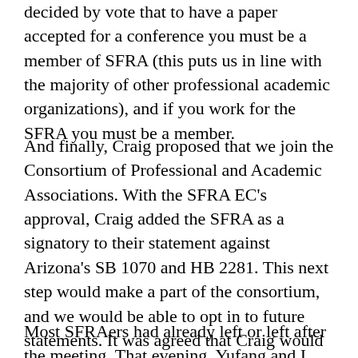decided by vote that to have a paper accepted for a conference you must be a member of SFRA (this puts us in line with the majority of other professional academic organizations), and if you work for the SFRA you must be a member.
And finally, Craig proposed that we join the Consortium of Professional and Academic Associations. With the SFRA EC's approval, Craig added the SFRA as a signatory to their statement against Arizona's SB 1070 and HB 2281. This next step would make a part of the consortium, and we would be able to opt in to future statements. It was agreed that Craig would create an anonymous poll announced in the next SFRA Review.
Most SFRAers had already left or left after the meeting. That evening, Yufang and I met up with